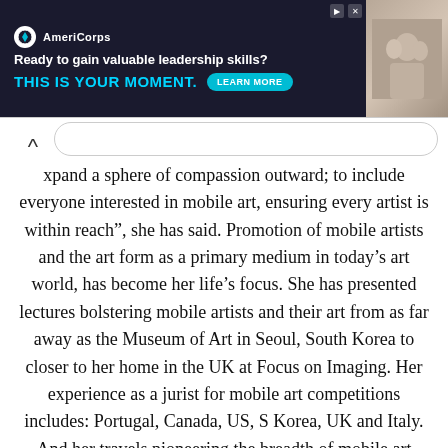[Figure (screenshot): AmeriCorps advertisement banner: dark navy background with text 'Ready to gain valuable leadership skills? THIS IS YOUR MOMENT.' with a teal LEARN MORE button, and a photo of people on the right side.]
xpand a sphere of compassion outward; to include everyone interested in mobile art, ensuring every artist is within reach”, she has said. Promotion of mobile artists and the art form as a primary medium in today’s art world, has become her life’s focus. She has presented lectures bolstering mobile artists and their art from as far away as the Museum of Art in Seoul, South Korea to closer to her home in the UK at Focus on Imaging. Her experience as a jurist for mobile art competitions includes: Portugal, Canada, US, S Korea, UK and Italy. And her travels pioneering the breadth of mobile art includes key events in: Frankfurt, Naples, Amalfi Coast, Paris, Brazil, London. Pioneering the world’s first mobile art online gallery TheAppWhispererPrintSales.com has extended her reach even further, shipping from London, UK to clients in the US, Europe and The Far East to a global group of collectors